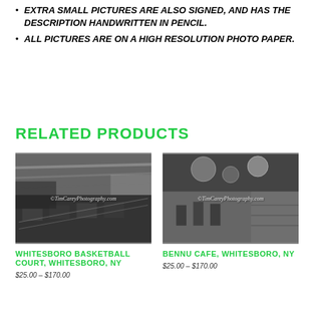EXTRA SMALL PICTURES ARE ALSO SIGNED, AND HAS THE DESCRIPTION HANDWRITTEN IN PENCIL.
ALL PICTURES ARE ON A HIGH RESOLUTION PHOTO PAPER.
RELATED PRODUCTS
[Figure (photo): Black and white HDR photo of Whitesboro Basketball Court interior with watermark ©TimCareyPhotography.com]
WHITESBORO BASKETBALL COURT, WHITESBORO, NY
$25.00 – $170.00
[Figure (photo): Black and white HDR photo of Bennu Cafe interior with watermark ©TimCareyPhotography.com]
BENNU CAFE, WHITESBORO, NY
$25.00 – $170.00